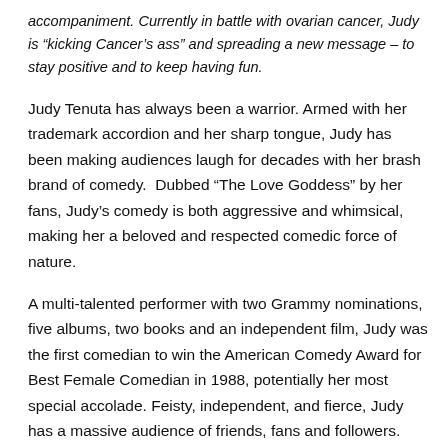accompaniment. Currently in battle with ovarian cancer, Judy is “kicking Cancer’s ass” and spreading a new message – to stay positive and to keep having fun.
Judy Tenuta has always been a warrior. Armed with her trademark accordion and her sharp tongue, Judy has been making audiences laugh for decades with her brash brand of comedy. Dubbed “The Love Goddess” by her fans, Judy’s comedy is both aggressive and whimsical, making her a beloved and respected comedic force of nature.
A multi-talented performer with two Grammy nominations, five albums, two books and an independent film, Judy was the first comedian to win the American Comedy Award for Best Female Comedian in 1988, potentially her most special accolade. Feisty, independent, and fierce, Judy has a massive audience of friends, fans and followers.